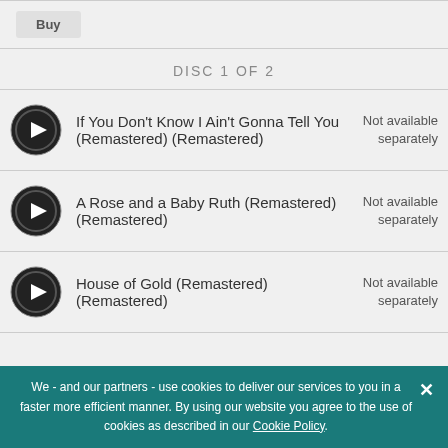Buy
DISC 1 OF 2
If You Don't Know I Ain't Gonna Tell You (Remastered) (Remastered) — Not available separately
A Rose and a Baby Ruth (Remastered) (Remastered) — Not available separately
House of Gold (Remastered) (Remastered) — Not available separately
We - and our partners - use cookies to deliver our services to you in a faster more efficient manner. By using our website you agree to the use of cookies as described in our Cookie Policy.